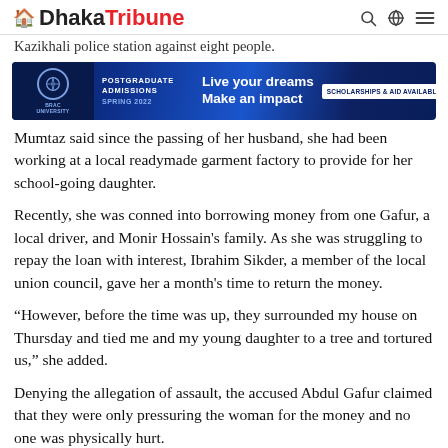Dhaka Tribune
Kazikhali police station against eight people.
[Figure (infographic): BRAC University advertisement banner for Postgraduate Admissions Spring 2022. Dark blue background with text: POSTGRADUATE ADMISSIONS SPRING 2022, Live your dreams Make an impact, SCHOLARSHIPS & AID AVAILABLE, Deadline: 3 January, 2022, CLICK HERE & APPLY!]
Mumtaz said since the passing of her husband, she had been working at a local readymade garment factory to provide for her school-going daughter.
Recently, she was conned into borrowing money from one Gafur, a local driver, and Monir Hossain's family. As she was struggling to repay the loan with interest, Ibrahim Sikder, a member of the local union council, gave her a month's time to return the money.
“However, before the time was up, they surrounded my house on Thursday and tied me and my young daughter to a tree and tortured us,” she added.
Denying the allegation of assault, the accused Abdul Gafur claimed that they were only pressuring the woman for the money and no one was physically hurt.